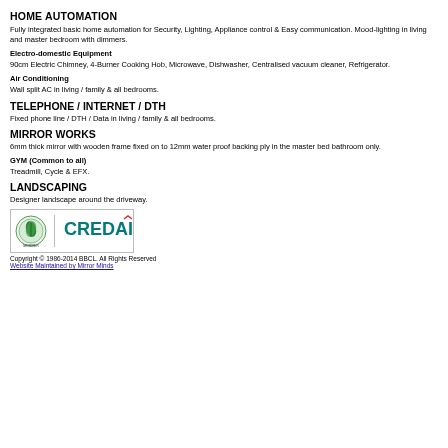HOME AUTOMATION
Fully integrated basic home automation for Security, Lighting, Appliance control & Easy communication. Mood-lighting in living and master bedroom with dimmers.
Electro-domestic Equipment
90cm Electric Chimney, 4-Burner Cooking Hob, Microwave, Dishwasher, Centralised vacuum cleaner, Refrigerator.
Air Conditioning
Wall split AC in living / family & all bedrooms.
TELEPHONE / INTERNET / DTH
Fixed phone line / DTH / Data in living / family & all bedrooms.
MIRROR WORKS
6mm thick mirror with wooden frame fixed on to 12mm water proof backing ply in the master bed bathroom only.
GYM (Common to all)
Treadmill, Cycle & EFX.
LANDSCAPING
Designer landscape around the driveway.
[Figure (logo): CREDAI member logo with green leaf emblem and CREDAI text in teal/green]
Copyright © 1986-2014 BBCL. All Rights Reserved
Website Maintained by Mirror Minds